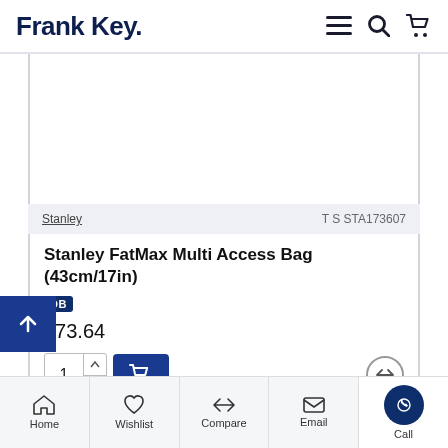Frank Key.
[Figure (photo): Product image area (blank/white)]
Stanley   T S STA173607
Stanley FatMax Multi Access Bag (43cm/17in)
DB
£73.64
1 [add to cart button] [compare button]
Home   Wishlist   Compare   Email   Call